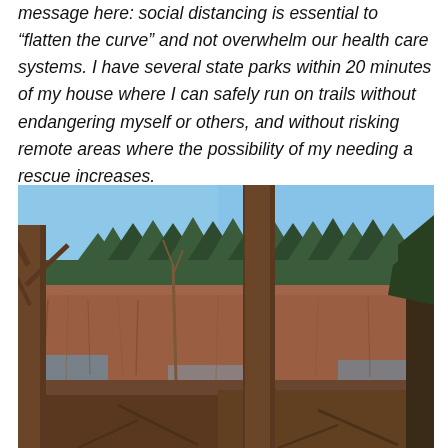message here: social distancing is essential to “flatten the curve” and not overwhelm our health care systems. I have several state parks within 20 minutes of my house where I can safely run on trails without endangering myself or others, and without risking remote areas where the possibility of my needing a rescue increases.
[Figure (photo): Outdoor nature photograph showing a wetland or marsh scene in early spring or late winter. Bare deciduous trees in the foreground, flooded marshy ground with brown grasses and reeds, a treeline of evergreen conifers in the middle distance, and a clear blue sky above.]